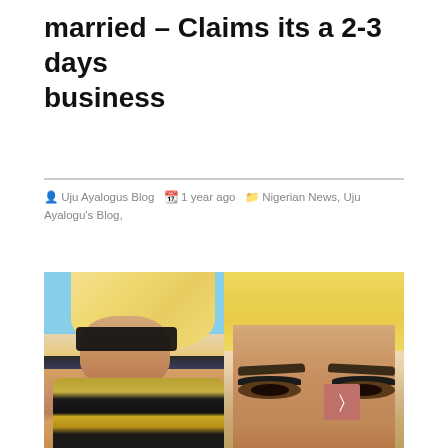married – Claims its a 2-3 days business
Uju Ayalogus Blog  1 year ago  Nigerian News, Uju Ayalogu's Blog,
[Figure (photo): Two women with blonde hair side by side. Left: woman wearing dark sunglasses and a Versace-style swimsuit near a beach. Right: close-up of a woman's face with heavy makeup and long lashes.]